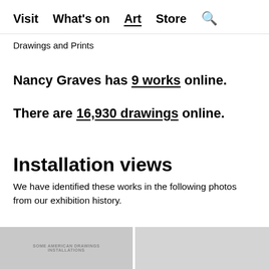Visit  What's on  Art  Store  🔍
Drawings and Prints
Nancy Graves has 9 works online.
There are 16,930 drawings online.
Installation views
We have identified these works in the following photos from our exhibition history.
[Figure (photo): Thumbnail of exhibition installation view photo 1]
[Figure (photo): Thumbnail of exhibition installation view photo 2]